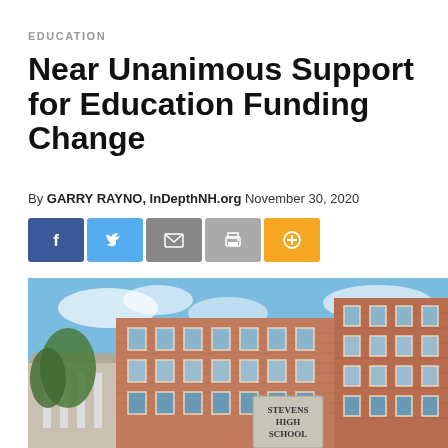EDUCATION
Near Unanimous Support for Education Funding Change
By GARRY RAYNO, InDepthNH.org November 30, 2020
[Figure (illustration): Row of social share buttons: Facebook (dark blue), Twitter (light blue), Email (gray), Print (gray), Plus/share (orange)]
[Figure (photo): Exterior photo of Stevens High School, a multi-story red brick building with many windows under a blue sky, with a stone sign reading STEVENS HIGH SCHOOL in the foreground.]